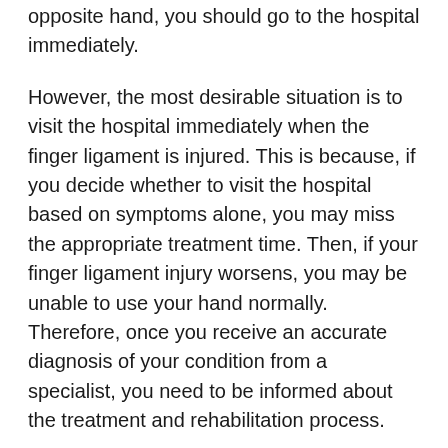opposite hand, you should go to the hospital immediately.
However, the most desirable situation is to visit the hospital immediately when the finger ligament is injured. This is because, if you decide whether to visit the hospital based on symptoms alone, you may miss the appropriate treatment time. Then, if your finger ligament injury worsens, you may be unable to use your hand normally. Therefore, once you receive an accurate diagnosis of your condition from a specialist, you need to be informed about the treatment and rehabilitation process.
Q6. How is the treatment and rehabilitation process for finger ligament injuries?
If the finger ligaments are injured, rehabilitation is performed after the injured area is fixed with plaster. It is a necessary procedure for the regeneration of ligaments, and the treatment treatment is to do 3 hours...